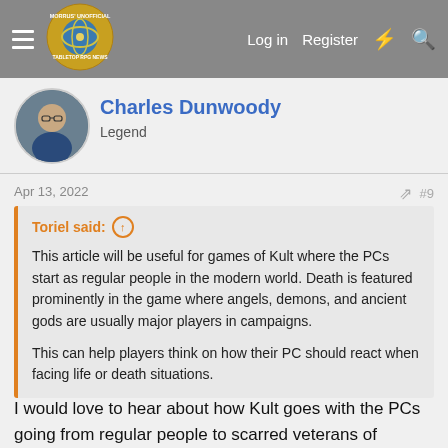Morrus' Unofficial Tabletop RPG News — Log in  Register
Charles Dunwoody
Legend
Apr 13, 2022  #9
Toriel said:
This article will be useful for games of Kult where the PCs start as regular people in the modern world. Death is featured prominently in the game where angels, demons, and ancient gods are usually major players in campaigns.

This can help players think on how their PC should react when facing life or death situations.
I would love to hear about how Kult goes with the PCs going from regular people to scarred veterans of supernatural